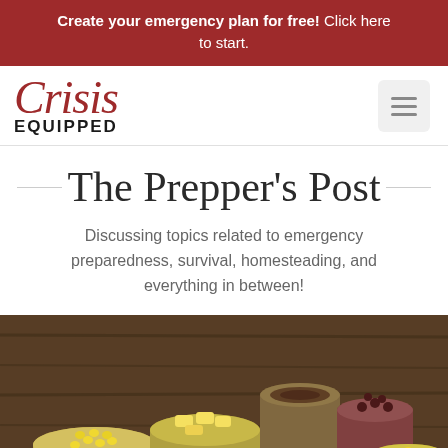Create your emergency plan for free! Click here to start.
[Figure (logo): Crisis Equipped logo with red cursive 'Crisis' text and bold 'EQUIPPED' underneath, plus hamburger menu icon]
The Prepper's Post
Discussing topics related to emergency preparedness, survival, homesteading, and everything in between!
[Figure (photo): Open tin cans with various food items including corn, pineapple chunks, beans and other canned goods on a wooden surface]